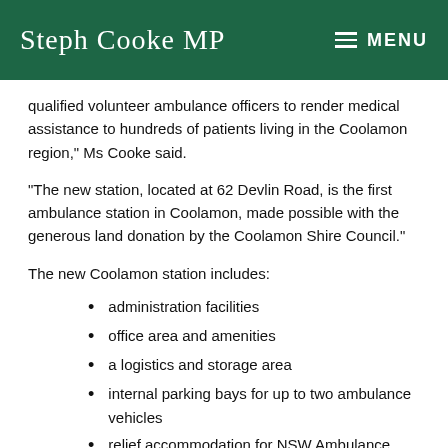Steph Cooke MP | MENU
qualified volunteer ambulance officers to render medical assistance to hundreds of patients living in the Coolamon region," Ms Cooke said.
“The new station, located at 62 Devlin Road, is the first ambulance station in Coolamon, made possible with the generous land donation by the Coolamon Shire Council.”
The new Coolamon station includes:
administration facilities
office area and amenities
a logistics and storage area
internal parking bays for up to two ambulance vehicles
relief accommodation for NSW Ambulance staff